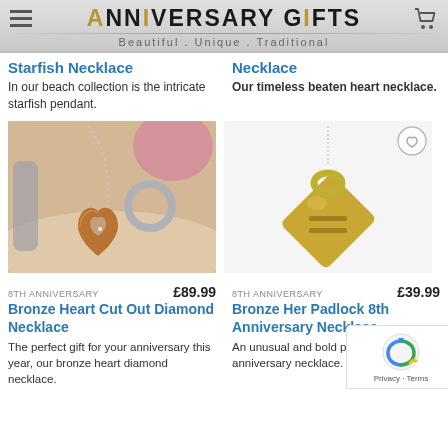ANNIVERSARY GIFTS — Beautiful . Unique . Traditional
Starfish Necklace
In our beach collection is the intricate starfish pendant.
Necklace
Our timeless beaten heart necklace.
[Figure (photo): Bronze heart cut out diamond necklace on sandy beach background with silver ribbon]
8TH ANNIVERSARY   £89.99
Bronze Heart Cut Out Diamond Necklace
The perfect gift for your anniversary this year, our bronze heart diamond necklace.
[Figure (photo): Bronze her padlock 8th anniversary necklace on white background]
8TH ANNIVERSARY   £39.99
Bronze Her Padlock 8th Anniversary Necklace
An unusual and bold pendant, an bronze anniversary necklace.